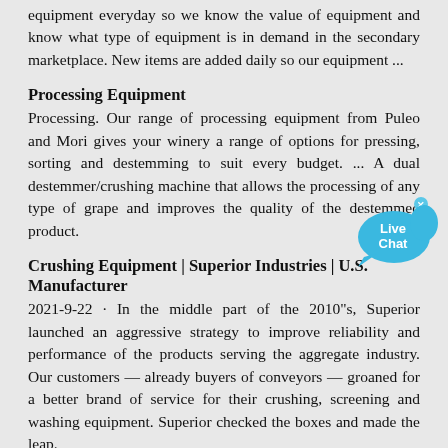equipment everyday so we know the value of equipment and know what type of equipment is in demand in the secondary marketplace. New items are added daily so our equipment ...
Processing Equipment
Processing. Our range of processing equipment from Puleo and Mori gives your winery a range of options for pressing, sorting and destemming to suit every budget. ... A dual destemmer/crushing machine that allows the processing of any type of grape and improves the quality of the destemmed product.
[Figure (illustration): Live Chat bubble icon in blue]
Crushing Equipment | Superior Industries | U.S. Manufacturer
2021-9-22 · In the middle part of the 2010"s, Superior launched an aggressive strategy to improve reliability and performance of the products serving the aggregate industry. Our customers — already buyers of conveyors — groaned for a better brand of service for their crushing, screening and washing equipment. Superior checked the boxes and made the leap.
Crushing, Grinding and Processing Equipment
Efficient and reliable crushing, grinding and processing equipment are the key to maximizing productivity while maintaining low operating costs. The technological and